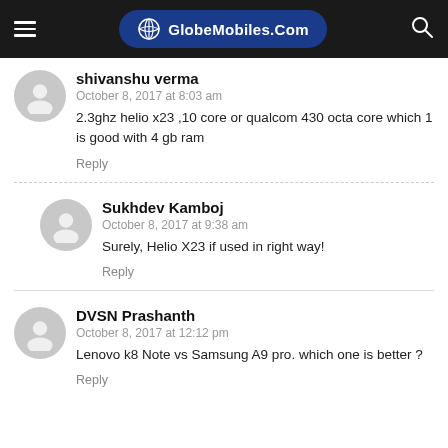GlobeMobiles.Com
shivanshu verma
October 8, 2017 at 8:03 am
2.3ghz helio x23 ,10 core or qualcom 430 octa core which 1 is good with 4 gb ram
Reply
Sukhdev Kamboj
October 8, 2017 at 9:38 am
Surely, Helio X23 if used in right way!
Reply
DVSN Prashanth
October 8, 2017 at 12:12 pm
Lenovo k8 Note vs Samsung A9 pro. which one is better ?
Reply